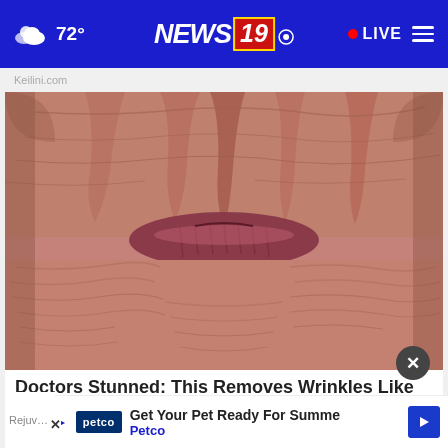72° NEWS 19 LIVE
Keilini.com
[Figure (photo): Extreme close-up macro photograph of elderly person's wrinkled lips and surrounding heavily wrinkled skin. The lips appear dry and deeply lined, with the surrounding skin showing pronounced wrinkles and texture.]
Doctors Stunned: This Removes Wrinkles Like Cra…
Rejuv…
Get Your Pet Ready For Summe
Petco